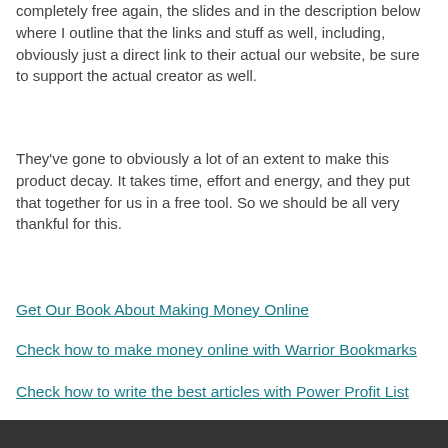completely free again, the slides and in the description below where I outline that the links and stuff as well, including, obviously just a direct link to their actual our website, be sure to support the actual creator as well.
They've gone to obviously a lot of an extent to make this product decay. It takes time, effort and energy, and they put that together for us in a free tool. So we should be all very thankful for this.
Get Our Book About Making Money Online
Check how to make money online with Warrior Bookmarks
Check how to write the best articles with Power Profit List